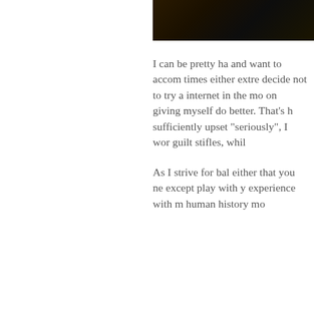[Figure (photo): Dark photograph strip in upper right corner, showing a dimly lit scene with warm tones]
I can be pretty ha and want to accom times either extre decide not to try a internet in the mo on giving myself do better. That's h sufficiently upset "seriously", I wor guilt stifles, whil
As I strive for bal either that you ne except play with y experience with m human history mo